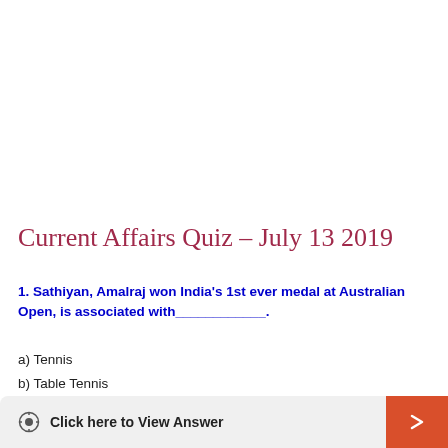Current Affairs Quiz – July 13 2019
1. Sathiyan, Amalraj won India's 1st ever medal at Australian Open, is associated with____________.
a) Tennis
b) Table Tennis
c) Badminton
d) Cricket
Click here to View Answer